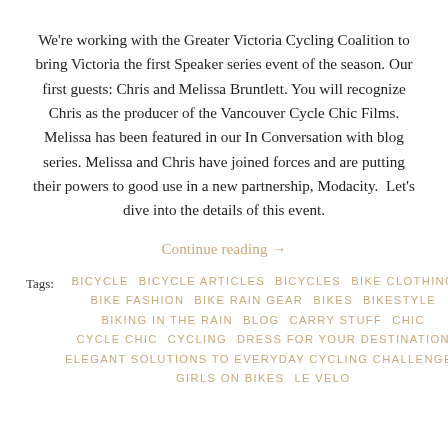We're working with the Greater Victoria Cycling Coalition to bring Victoria the first Speaker series event of the season. Our first guests: Chris and Melissa Bruntlett. You will recognize Chris as the producer of the Vancouver Cycle Chic Films. Melissa has been featured in our In Conversation with blog series. Melissa and Chris have joined forces and are putting their powers to good use in a new partnership, Modacity.  Let's dive into the details of this event.
Continue reading →
Tags:  BICYCLE    BICYCLE ARTICLES    BICYCLES    BIKE CLOTHING    BIKE FASHION    BIKE RAIN GEAR    BIKES    BIKESTYLE    BIKING IN THE RAIN    BLOG    CARRY STUFF    CHIC    CYCLE CHIC    CYCLING    DRESS FOR YOUR DESTINATION    ELEGANT SOLUTIONS TO EVERYDAY CYCLING CHALLENGES    GIRLS ON BIKES    LE VELO